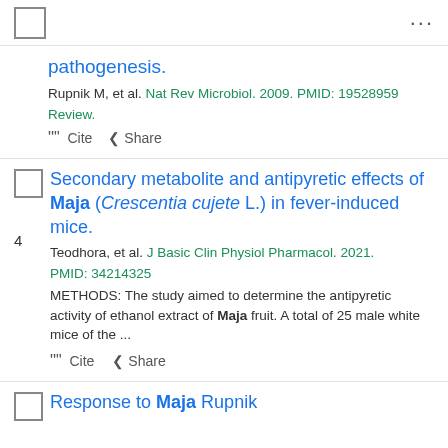[Figure (other): Top bar with checkbox and three-dot menu icon]
pathogenesis.
Rupnik M, et al. Nat Rev Microbiol. 2009. PMID: 19528959 Review.
Cite  Share
Secondary metabolite and antipyretic effects of Maja (Crescentia cujete L.) in fever-induced mice.
Teodhora, et al. J Basic Clin Physiol Pharmacol. 2021. PMID: 34214325
METHODS: The study aimed to determine the antipyretic activity of ethanol extract of Maja fruit. A total of 25 male white mice of the ...
Cite  Share
Response to Maja Rupnik